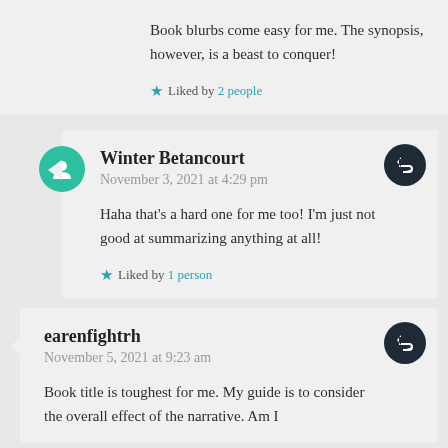Book blurbs come easy for me. The synopsis, however, is a beast to conquer!
Liked by 2 people
Winter Betancourt
November 3, 2021 at 4:29 pm
Haha that's a hard one for me too! I'm just not good at summarizing anything at all!
Liked by 1 person
earenfightrh
November 5, 2021 at 9:23 am
Book title is toughest for me. My guide is to consider the overall effect of the narrative. Am I